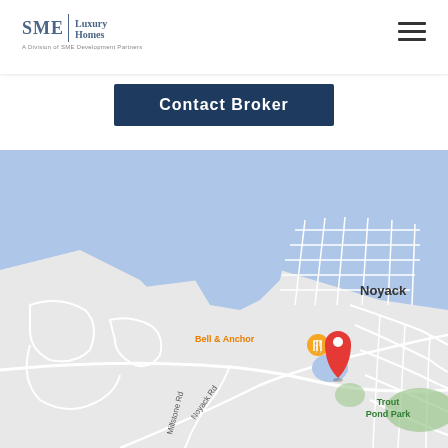SME Luxury Homes - A Division of SME Development Partners
Contact Broker
[Figure (map): Google Maps showing Noyack, NY area with a red location pin near Bell & Anchor restaurant and Trout Pond Park. Shows Noyack Rd, Millstone Rd, and surrounding waterways.]